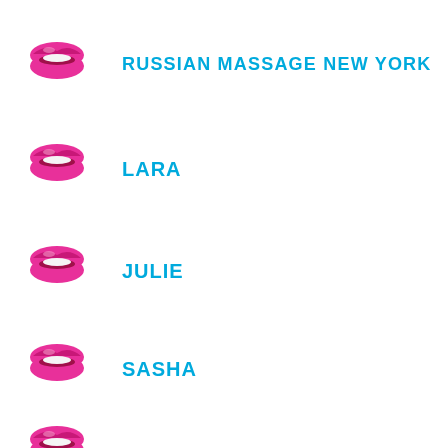RUSSIAN MASSAGE NEW YORK
LARA
JULIE
SASHA
DARA